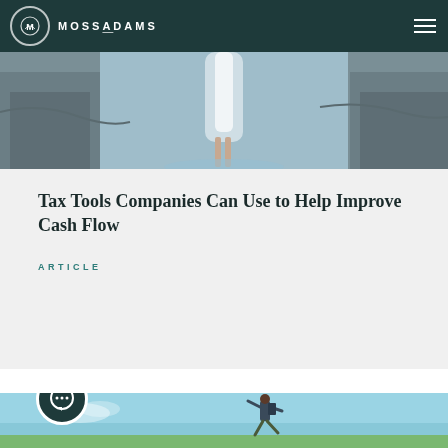MOSSADAMS
[Figure (photo): Hero image at top of page showing a waterfall and rocky cliff background with a person silhouette]
Tax Tools Companies Can Use to Help Improve Cash Flow
ARTICLE
[Figure (photo): Bottom image showing a person jumping outdoors against a blue sky, with a chat/message icon overlay in the lower left]